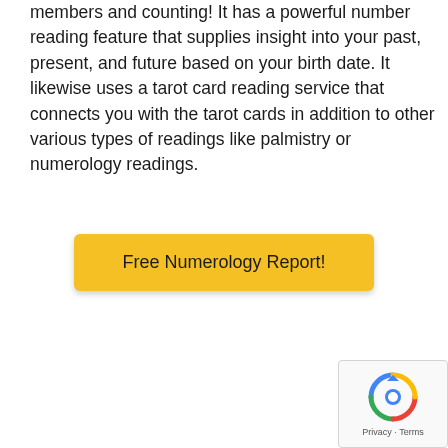members and counting! It has a powerful number reading feature that supplies insight into your past, present, and future based on your birth date. It likewise uses a tarot card reading service that connects you with the tarot cards in addition to other various types of readings like palmistry or numerology readings.
[Figure (other): Yellow button labeled 'Free Numerology Report!']
[Figure (other): reCAPTCHA widget with circular arrow logo and 'Privacy - Terms' text]